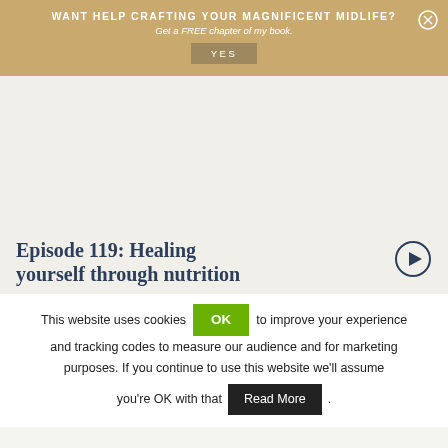WANT HELP CRAFTING YOUR MAGNIFICENT MIDLIFE? Get a FREE chapter of my book. YES
Episode 119: Healing yourself through nutrition
This website uses cookies OK to improve your experience and tracking codes to measure our audience and for marketing purposes. If you continue to use this website we'll assume you're OK with that Read More.